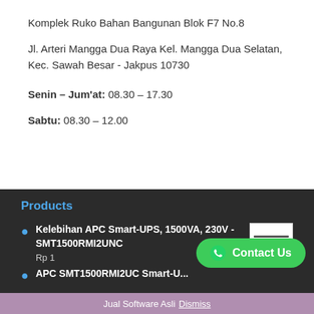Komplek Ruko Bahan Bangunan Blok F7 No.8
Jl. Arteri Mangga Dua Raya Kel. Mangga Dua Selatan, Kec. Sawah Besar - Jakpus 10730
Senin – Jum'at: 08.30 – 17.30
Sabtu: 08.30 – 12.00
Products
Kelebihan APC Smart-UPS, 1500VA, 230V - SMT1500RMI2UNC
Rp 1
APC SMT1500RMI2UC Smart-U...
Jual Software Asli Dismiss